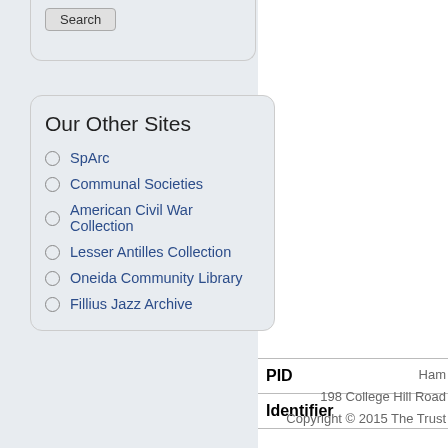Our Other Sites
SpArc
Communal Societies
American Civil War Collection
Lesser Antilles Collection
Oneida Community Library
Fillius Jazz Archive
| PID |
| --- |
| Identifier |  |
Ham
198 College Hill Road
Copyright © 2015 The Trust